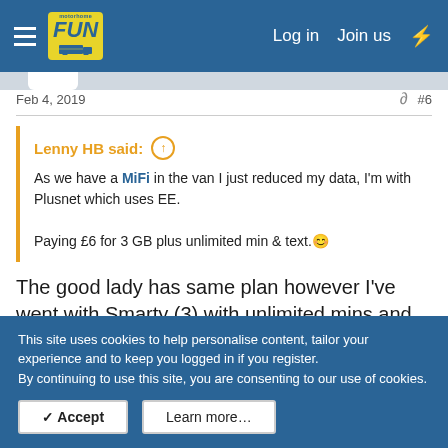Motorhome Fun — Log in  Join us
Feb 4, 2019  #6
Lenny HB said: ↑
As we have a MiFi in the van I just reduced my data, I'm with Plusnet which uses EE.
Paying £6 for 3 GB plus unlimited min & text. 🙂
The good lady has same plan however I've went with Smarty (3) with unlimited mins and texts and 3Gb of data for £7.50 However as I don't use the data (also
This site uses cookies to help personalise content, tailor your experience and to keep you logged in if you register.
By continuing to use this site, you are consenting to our use of cookies.